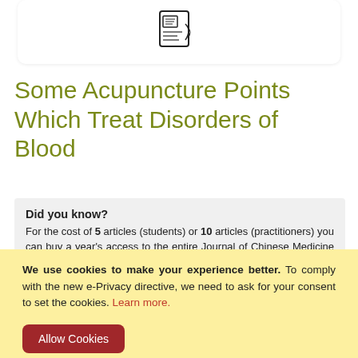[Figure (illustration): Article icon/thumbnail showing a stylized acupuncture or body diagram symbol in black and white, inside a white rounded card]
Some Acupuncture Points Which Treat Disorders of Blood
Did you know?
For the cost of 5 articles (students) or 10 articles (practitioners) you can buy a year's access to the entire Journal of Chinese Medicine article archive.
› Subscribe online now
We use cookies to make your experience better. To comply with the new e-Privacy directive, we need to ask for your consent to set the cookies. Learn more.
Allow Cookies